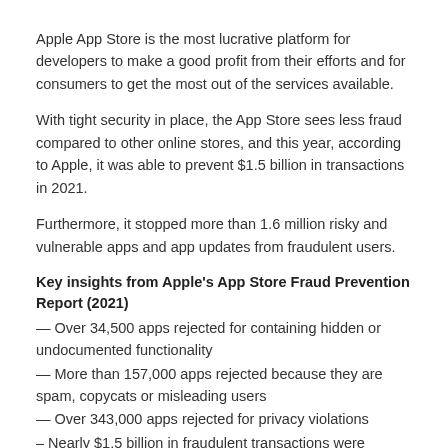Apple App Store is the most lucrative platform for developers to make a good profit from their efforts and for consumers to get the most out of the services available.
With tight security in place, the App Store sees less fraud compared to other online stores, and this year, according to Apple, it was able to prevent $1.5 billion in transactions in 2021.
Furthermore, it stopped more than 1.6 million risky and vulnerable apps and app updates from fraudulent users.
Key insights from Apple's App Store Fraud Prevention Report (2021)
— Over 34,500 apps rejected for containing hidden or undocumented functionality
— More than 157,000 apps rejected because they are spam, copycats or misleading users
— Over 343,000 apps rejected for privacy violations
– Nearly $1.5 billion in fraudulent transactions were stopped
— More than 3.3 million stolen credit cards prevented from